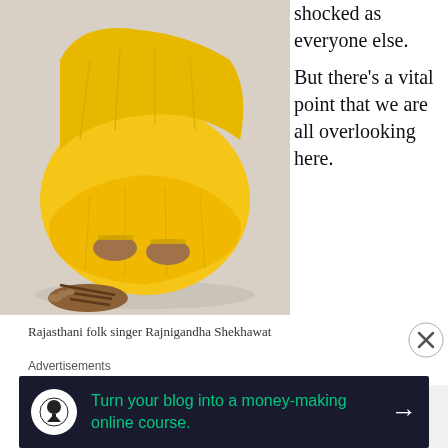[Figure (photo): A woman in a yellow saree seated on the floor, wearing bangles and sandals, photographed from the torso down]
Rajasthani folk singer Rajnigandha Shekhawat
shocked as everyone else.
But there's a vital point that we are all overlooking here.
Queen Padmavati's story is of a woman who killed herself after
Advertisements
[Figure (screenshot): Advertisement banner: dark navy background with white circle icon containing a tree/person silhouette, green text reading 'Turn your blog into a money-making online course.' with a white right arrow]